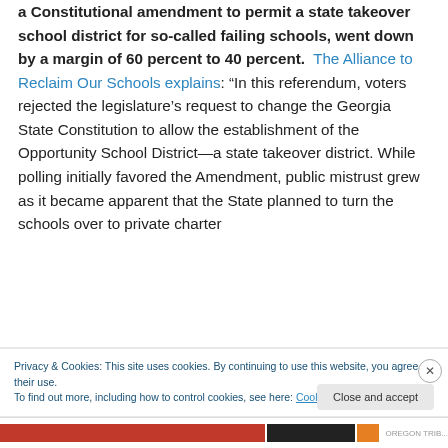a Constitutional amendment to permit a state takeover school district for so-called failing schools, went down by a margin of 60 percent to 40 percent. The Alliance to Reclaim Our Schools explains: “In this referendum, voters rejected the legislature’s request to change the Georgia State Constitution to allow the establishment of the Opportunity School District—a state takeover district. While polling initially favored the Amendment, public mistrust grew as it became apparent that the State planned to turn the schools over to private charter
Privacy & Cookies: This site uses cookies. By continuing to use this website, you agree to their use. To find out more, including how to control cookies, see here: Cookie Policy